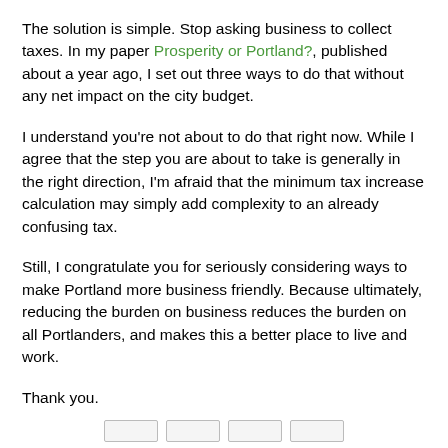The solution is simple. Stop asking business to collect taxes. In my paper Prosperity or Portland?, published about a year ago, I set out three ways to do that without any net impact on the city budget.
I understand you're not about to do that right now. While I agree that the step you are about to take is generally in the right direction, I'm afraid that the minimum tax increase calculation may simply add complexity to an already confusing tax.
Still, I congratulate you for seriously considering ways to make Portland more business friendly. Because ultimately, reducing the burden on business reduces the burden on all Portlanders, and makes this a better place to live and work.
Thank you.